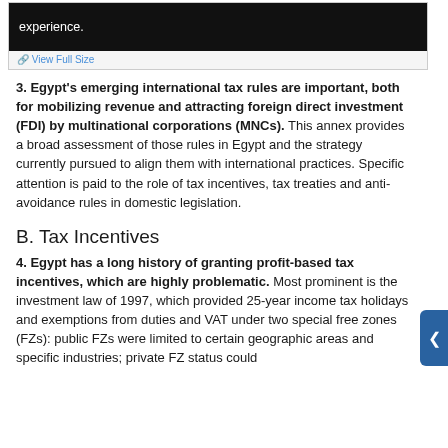[Figure (screenshot): Dark screenshot bar showing 'experience.' text in white on black background with a 'View Full Size' link below in blue]
3. Egypt's emerging international tax rules are important, both for mobilizing revenue and attracting foreign direct investment (FDI) by multinational corporations (MNCs). This annex provides a broad assessment of those rules in Egypt and the strategy currently pursued to align them with international practices. Specific attention is paid to the role of tax incentives, tax treaties and anti-avoidance rules in domestic legislation.
B. Tax Incentives
4. Egypt has a long history of granting profit-based tax incentives, which are highly problematic. Most prominent is the investment law of 1997, which provided 25-year income tax holidays and exemptions from duties and VAT under two special free zones (FZs): public FZs were limited to certain geographic areas and specific industries; private FZ status could